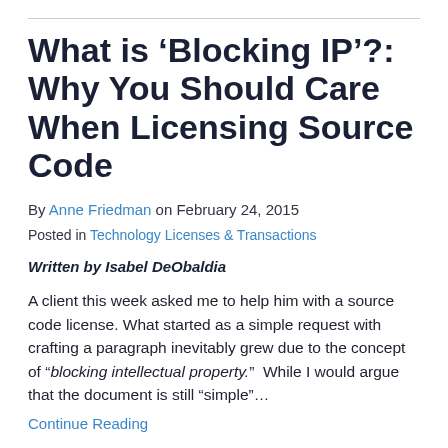What is ‘Blocking IP’?: Why You Should Care When Licensing Source Code
By Anne Friedman on February 24, 2015
Posted in Technology Licenses & Transactions
Written by Isabel DeObaldia
A client this week asked me to help him with a source code license. What started as a simple request with crafting a paragraph inevitably grew due to the concept of “blocking intellectual property.”  While I would argue that the document is still “simple”…
Continue Reading